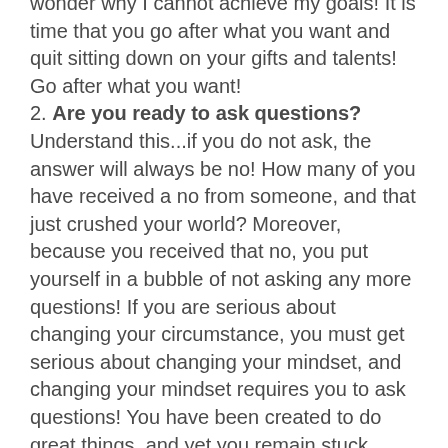wonder why I cannot achieve my goals! It is time that you go after what you want and quit sitting down on your gifts and talents! Go after what you want!
2. Are you ready to ask questions? Understand this...if you do not ask, the answer will always be no! How many of you have received a no from someone, and that just crushed your world? Moreover, because you received that no, you put yourself in a bubble of not asking any more questions! If you are serious about changing your circumstance, you must get serious about changing your mindset, and changing your mindset requires you to ask questions! You have been created to do great things, and yet you remain stuck trying to fit in where you don't belong...and many have learned how to function where there's dysfunction! You know that relationship isn't good for you, but you've learned how to function in the dysfunction of it...it's time to